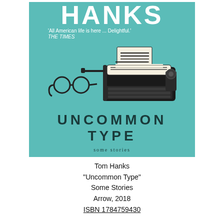[Figure (illustration): Book cover of 'Uncommon Type' by Tom Hanks. Teal/turquoise background with white bold text 'HANKS' at top, a quote 'All American life is here ... Delightful.' attributed to THE TIMES, a graphic illustration of a vintage typewriter with paper and spectacles, and large dark teal text reading 'UNCOMMON TYPE' with 'some stories' below.]
Tom Hanks
"Uncommon Type"
Some Stories
Arrow, 2018
ISBN 1784759430